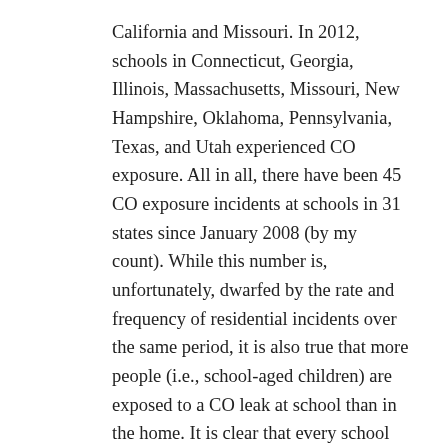California and Missouri.  In 2012, schools in Connecticut, Georgia, Illinois, Massachusetts, Missouri, New Hampshire, Oklahoma, Pennsylvania, Texas, and Utah experienced CO exposure.  All in all, there have been 45 CO exposure incidents at schools in 31 states since January 2008 (by my count).  While this number is, unfortunately, dwarfed by the rate and frequency of residential incidents over the same period, it is also true that more people (i.e., school-aged children) are exposed to a CO leak at school than in the home. It is clear that every school building housing a CO-emitting device (boilers, furnaces, and the like) needs CO detection.
Currently, five states require CO detection in their schools (CA, CT, MD, SC, and UT).  In fairness, it is possible that local ordinances exist at the county and district levels in other states.  And many schools in these and other states, I'm sure, have been proactive in installing them on their own initiative.